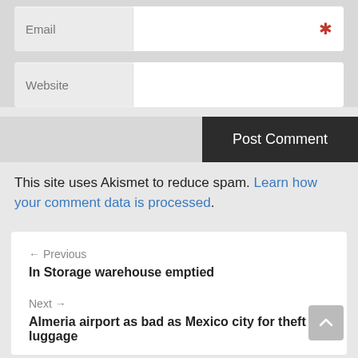[Figure (screenshot): Email input field with label 'Email' and a red asterisk required marker on the right side of the white input area]
[Figure (screenshot): Website input field with label 'Website' and a white input area]
[Figure (screenshot): Post Comment dark button aligned to the right]
This site uses Akismet to reduce spam. Learn how your comment data is processed.
← Previous
In Storage warehouse emptied
Next →
Almeria airport as bad as Mexico city for theft of luggage